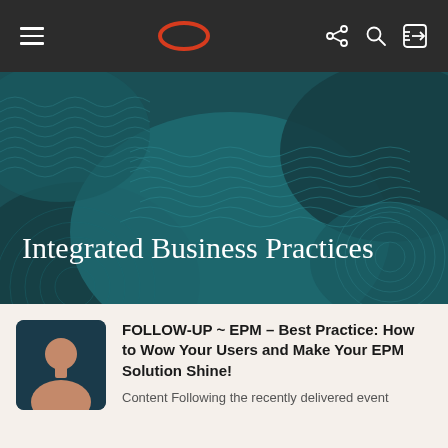Navigation bar with hamburger menu, Oracle logo, and icons
[Figure (illustration): Hero banner with decorative teal abstract wave and leaf pattern background]
Integrated Business Practices
[Figure (illustration): Avatar/profile silhouette icon on dark teal background]
FOLLOW-UP ~ EPM – Best Practice: How to Wow Your Users and Make Your EPM Solution Shine!
Content Following the recently delivered event